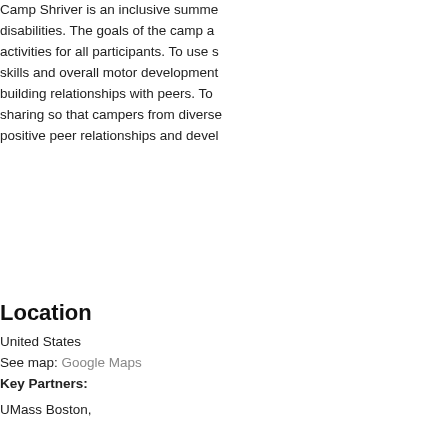Camp Shriver is an inclusive summer program for children with disabilities. The goals of the camp are to provide inclusive activities for all participants. To use sport to build motor skills and overall motor development. To provide a setting for building relationships with peers. To promote cross-disability sharing so that campers from diverse backgrounds can develop positive peer relationships and develop friendships.
Location
United States
See map: Google Maps
Key Partners:
UMass Boston,
How to get involved/application gu
The Camp Shriver Learning Lab enables undergraduate students to participate in the summer program. About 12 undergraduates participate in the learning lab, through the Center for Social Development and Education Department. This internship program provides students with experience with children with and without disabilities, and children with developmental disabilities from psychological and social perspectives. The internship program includes placement as Counselors and Assistant Coaches and seminars on child development and disabilities.
Other   Summer/Vacation Programs
Sports/Recreation   Summer Program